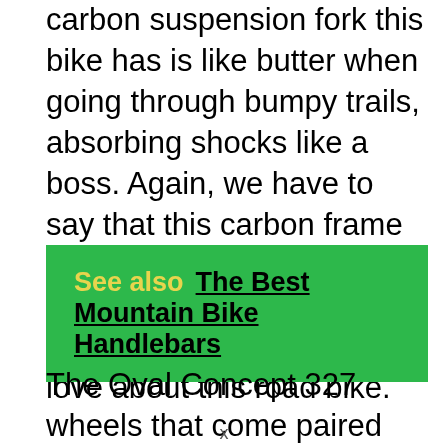carbon suspension fork this bike has is like butter when going through bumpy trails, absorbing shocks like a boss. Again, we have to say that this carbon frame is of very—very!—high quality, which is one of the things that we absolutely love about this road bike.
See also  The Best Mountain Bike Handlebars
The Oval Concept 327 wheels that come paired with Vittoria Zaffiro Pro tires are excellent for any terrain. It's got an excellent